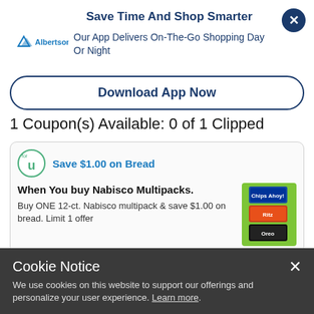Save Time And Shop Smarter
Our App Delivers On-The-Go Shopping Day Or Night
Download App Now
1 Coupon(s) Available: 0 of 1 Clipped
Save $1.00 on Bread
When You buy Nabisco Multipacks.
Buy ONE 12-ct. Nabisco multipack & save $1.00 on bread. Limit 1 offer
Cookie Notice
We use cookies on this website to support our offerings and personalize your user experience. Learn more.